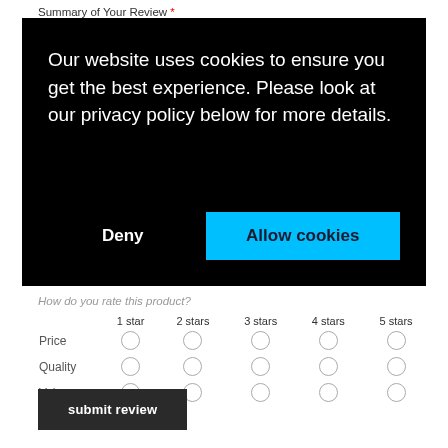Summary of Your Review *
[Figure (screenshot): Cookie consent overlay with black background. Text reads: 'Our website uses cookies to ensure you get the best experience. Please look at our privacy policy below for more details.' Two buttons: 'Deny' (white text, black background) and 'Allow cookies' (dark text, cyan background).]
How do you rate this product?
|  | 1 star | 2 stars | 3 stars | 4 stars | 5 stars |
| --- | --- | --- | --- | --- | --- |
| Price | ○ | ○ | ○ | ○ | ○ |
| Quality | ○ | ○ | ○ | ○ | ○ |
| Value | ○ | ○ | ○ | ○ | ○ |
submit review